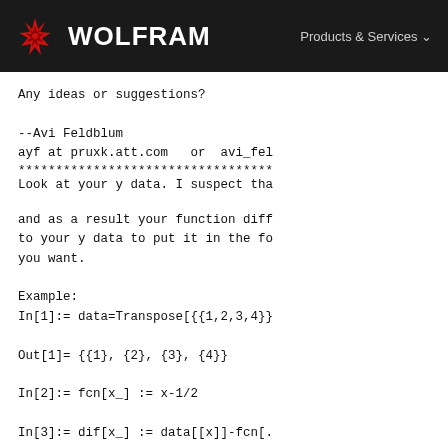WOLFRAM   Products & Services
Any ideas or suggestions?

--Avi Feldblum
ayf at pruxk.att.com   or  avi_fel
**********************************
Look at your y data. I suspect tha
and as a result your function diff
to your y data to put it in the fo
you want.
Example:
In[1]:= data=Transpose[{{1,2,3,4}}

Out[1]= {{1}, {2}, {3}, {4}}

In[2]:= fcn[x_] := x-1/2

In[3]:= dif[x_] := data[[x]]-fcn[.

In[4]:= Table[{.05i,dif[i]},{i,Len

Out[4]= {{0.05, {1.45}}, {0.1, {2.